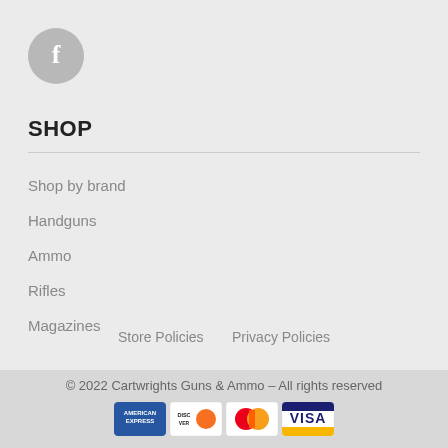[Figure (logo): Facebook circle icon with white 'f' letter on grey background]
SHOP
Shop by brand
Handguns
Ammo
Rifles
Magazines
Store Policies   Privacy Policies
© 2022 Cartwrights Guns & Ammo – All rights reserved
[Figure (logo): Payment icons: American Express, Discover, MasterCard, Visa]